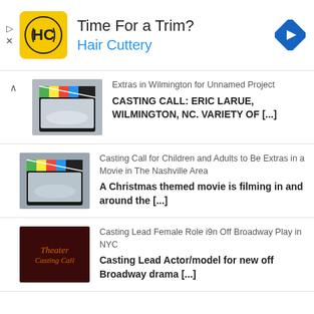[Figure (advertisement): Hair Cuttery ad banner with yellow HC logo, text 'Time For a Trim? Hair Cuttery', and blue navigation arrow icon]
Extras in Wilmington for Unnamed Project
CASTING CALL: ERIC LARUE, WILMINGTON, NC. VARIETY OF [...]
Casting Call for Children and Adults to Be Extras in a Movie in The Nashville Area
A Christmas themed movie is filming in and around the [...]
Casting Lead Female Role i9n Off Broadway Play in NYC
Casting Lead Actor/model for new off Broadway drama [...]